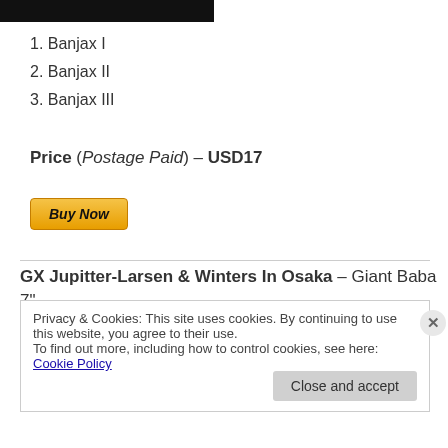[Figure (other): Black header bar image at top of page]
1. Banjax I
2. Banjax II
3. Banjax III
Price (Postage Paid) – USD17
[Figure (other): Buy Now button (PayPal style, gold/yellow gradient)]
GX Jupitter-Larsen & Winters In Osaka – Giant Baba 7"
Privacy & Cookies: This site uses cookies. By continuing to use this website, you agree to their use.
To find out more, including how to control cookies, see here: Cookie Policy
Close and accept